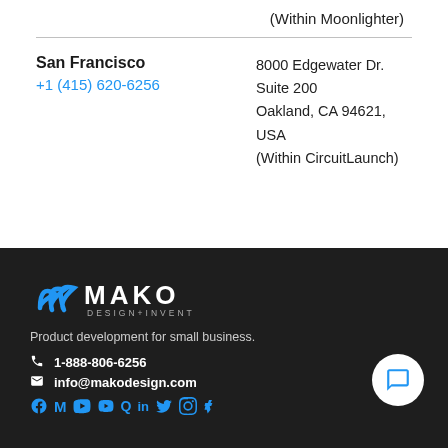(Within Moonlighter)
San Francisco
+1 (415) 620-6256
8000 Edgewater Dr.
Suite 200
Oakland, CA 94621, USA
(Within CircuitLaunch)
[Figure (logo): Mako Design + Invent logo with blue wave icon and white text on dark background]
Product development for small business.
1-888-806-6256
info@makodesign.com
Social media icons: Facebook, M, YouTube, Vimeo, Q, LinkedIn, Twitter, Instagram, RSS
Product Development Services